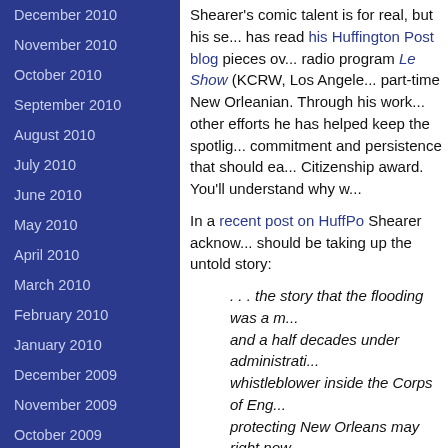December 2010
November 2010
October 2010
September 2010
August 2010
July 2010
June 2010
May 2010
April 2010
March 2010
February 2010
January 2010
December 2009
November 2009
October 2009
September 2009
August 2009
July 2009
Shearer's comic talent is for real, but his se... has read his Huffington Post blog pieces ov... radio program Le Show (KCRW, Los Angele... part-time New Orleanian. Through his work... other efforts he has helped keep the spotlig... commitment and persistence that should ea... Citizenship award. You'll understand why w...
In a recent post on HuffPo Shearer acknow... should be taking up the untold story:
. . . the story that the flooding was a m... and a half decades under administrati... whistleblower inside the Corps of Eng... protecting New Orleans may right now... professional journalists, it was up to a... that's been sitting there, on the public...
A review in New York magazine by David E...
By the end of The Big Uneasy, I came... not a filmmaker or an investigative jou... finally, couldn't stand by and hear "nat... camera and, like his protagonists, doin...
Get This: The Flooding Was Not a Na...